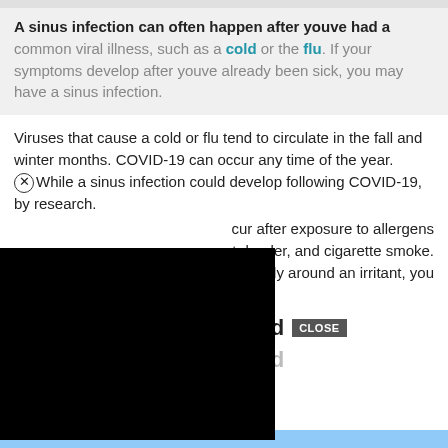A sinus infection can often happen after youve had a common viral illness, such as a cold or the flu. If your symptoms develop after youve already been sick, you may have a sinus infection.
Viruses that cause a cold or flu tend to circulate in the fall and winter months. COVID-19 can occur any time of the year. While a sinus infection could develop following COVID-19, [redacted] by research.
[redacted] cur after exposure to allergens [redacted] et dander, and cigarette smoke. [redacted] recently around an irritant, you may be at risk for a sinus infection.
Sinus Infections Vs Covid